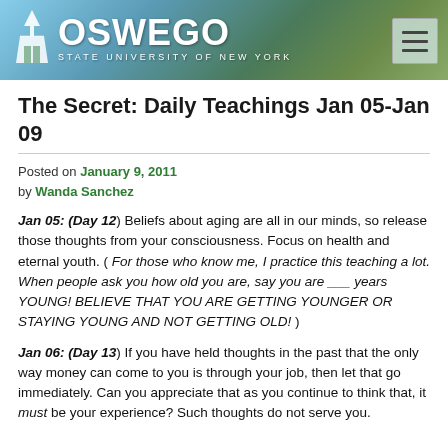[Figure (photo): SUNY Oswego university banner header with campus photo showing buildings and trees, white OSWEGO logo and STATE UNIVERSITY OF NEW YORK text, hamburger menu icon on right]
The Secret: Daily Teachings Jan 05-Jan 09
Posted on January 9, 2011
by Wanda Sanchez
Jan 05: (Day 12) Beliefs about aging are all in our minds, so release those thoughts from your consciousness. Focus on health and eternal youth. ( For those who know me, I practice this teaching a lot. When people ask you how old you are, say you are ___ years YOUNG! BELIEVE THAT YOU ARE GETTING YOUNGER OR STAYING YOUNG AND NOT GETTING OLD! )
Jan 06: (Day 13) If you have held thoughts in the past that the only way money can come to you is through your job, then let that go immediately. Can you appreciate that as you continue to think that, it must be your experience? Such thoughts do not serve you.